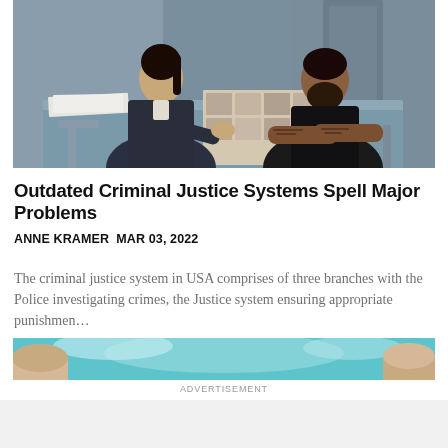[Figure (photo): Two people sitting across from each other at a table in what appears to be an interrogation or interview room. A woman in a dark blazer sits on the left side, leaning toward the table, and a man with tattoos wearing a black shirt sits on the right side with his arms on the table.]
Outdated Criminal Justice Systems Spell Major Problems
ANNE KRAMER  MAR 03, 2022
The criminal justice system in USA comprises of three branches with the Police investigating crimes, the Justice system ensuring appropriate punishmen…
[Figure (photo): Advertisement banner image with teal/turquoise sky and partial silhouette shapes at the edges.]
ADVERTISEMENT